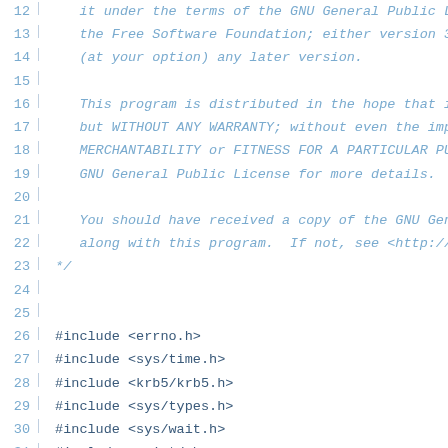Source code listing lines 12-34, showing GNU GPL license comment and C header includes
12    it under the terms of the GNU General Public L
13    the Free Software Foundation; either version 3
14    (at your option) any later version.
15
16    This program is distributed in the hope that it
17    but WITHOUT ANY WARRANTY; without even the impl
18    MERCHANTABILITY or FITNESS FOR A PARTICULAR PUR
19    GNU General Public License for more details.
20
21    You should have received a copy of the GNU Gene
22    along with this program.  If not, see <http://w
23  */
24
25
26  #include <errno.h>
27  #include <sys/time.h>
28  #include <krb5/krb5.h>
29  #include <sys/types.h>
30  #include <sys/wait.h>
31  #include <unistd.h>
32  #include <fcntl.h>
33  #include <pwd.h>
34